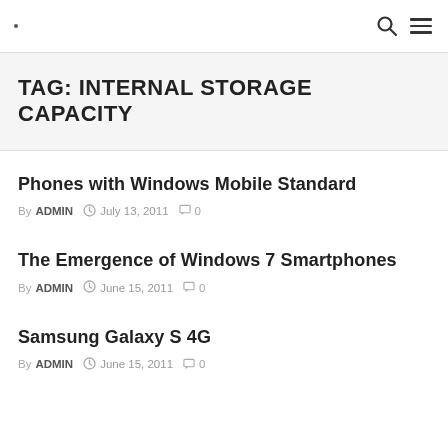· 🔍 ≡
TAG: INTERNAL STORAGE CAPACITY
Phones with Windows Mobile Standard
By ADMIN  July 13, 2011  0
The Emergence of Windows 7 Smartphones
By ADMIN  June 15, 2011  0
Samsung Galaxy S 4G
By ADMIN  June 15, 2011  0